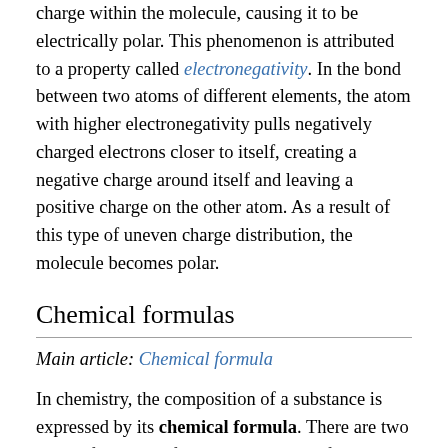charge within the molecule, causing it to be electrically polar. This phenomenon is attributed to a property called electronegativity. In the bond between two atoms of different elements, the atom with higher electronegativity pulls negatively charged electrons closer to itself, creating a negative charge around itself and leaving a positive charge on the other atom. As a result of this type of uneven charge distribution, the molecule becomes polar.
Chemical formulas
Main article: Chemical formula
In chemistry, the composition of a substance is expressed by its chemical formula. There are two types of chemical formulas: molecular formula and empirical formula.
The molecular formula of a compound reflects the exact number and types of atoms that make up each molecule of the compound, using the chemical symbols for the